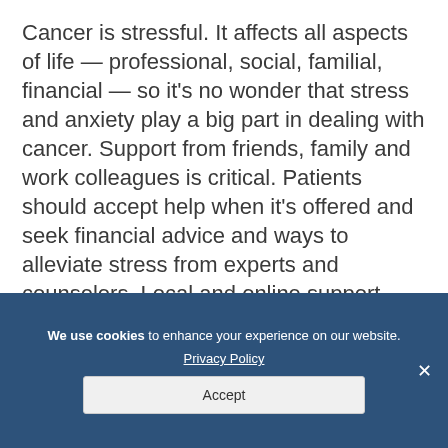Cancer is stressful. It affects all aspects of life — professional, social, familial, financial — so it's no wonder that stress and anxiety play a big part in dealing with cancer. Support from friends, family and work colleagues is critical. Patients should accept help when it's offered and seek financial advice and ways to alleviate stress from experts and counselors. Local and online support groups can offer valuable lifelines.
We use cookies to enhance your experience on our website. Privacy Policy Accept